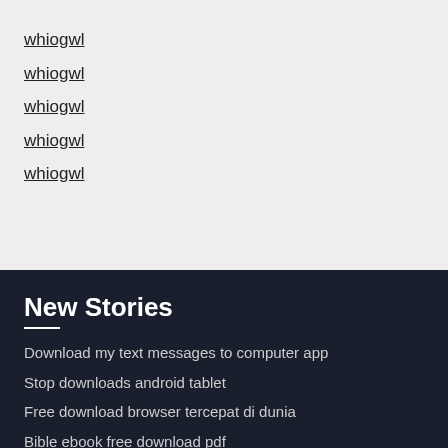whiogwl
whiogwl
whiogwl
whiogwl
whiogwl
New Stories
Download my text messages to computer app
Stop downloads android tablet
Free download browser tercepat di dunia
Bible ebook free download pdf